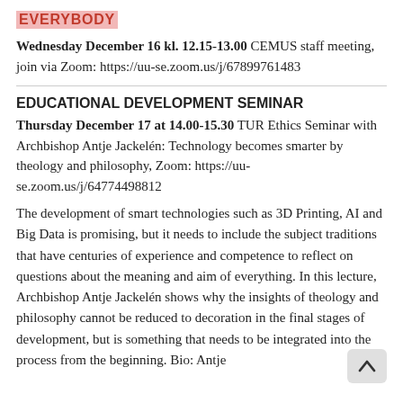EVERYBODY
Wednesday December 16 kl. 12.15-13.00 CEMUS staff meeting, join via Zoom: https://uu-se.zoom.us/j/67899761483
EDUCATIONAL DEVELOPMENT SEMINAR
Thursday December 17 at 14.00-15.30 TUR Ethics Seminar with Archbishop Antje Jackelén: Technology becomes smarter by theology and philosophy, Zoom: https://uu-se.zoom.us/j/64774498812
The development of smart technologies such as 3D Printing, AI and Big Data is promising, but it needs to include the subject traditions that have centuries of experience and competence to reflect on questions about the meaning and aim of everything. In this lecture, Archbishop Antje Jackelén shows why the insights of theology and philosophy cannot be reduced to decoration in the final stages of development, but is something that needs to be integrated into the process from the beginning. Bio: Antje